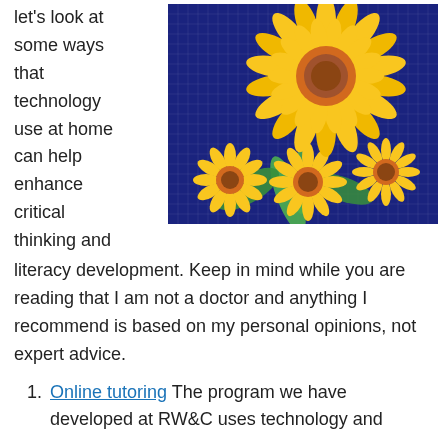let's look at some ways that technology use at home can help enhance critical thinking and literacy development.
[Figure (photo): A colorful mosaic image of sunflowers made from small tiles, with large and small sunflowers featuring orange centers and yellow petals against a dark blue mosaic background with green leaves.]
Keep in mind while you are reading that I am not a doctor and anything I recommend is based on my personal opinions, not expert advice.
Online tutoring The program we have developed at RW&C uses technology and